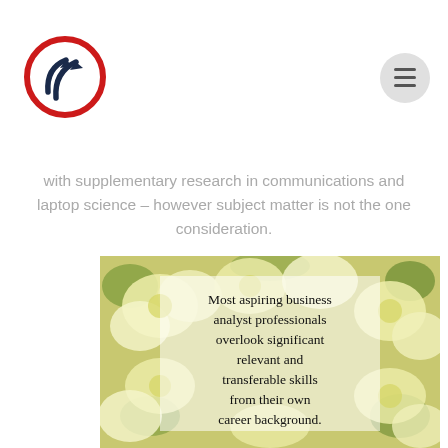[Figure (logo): Circular logo with red ring and dark blue arrows pointing upward, on white background]
with supplementary research in communications and laptop science – however subject matter is not the one consideration.
[Figure (photo): Yellow/white roses background with overlaid quote text: Most aspiring business analyst professionals overlook significant relevant and transferable skills from their own career background.]